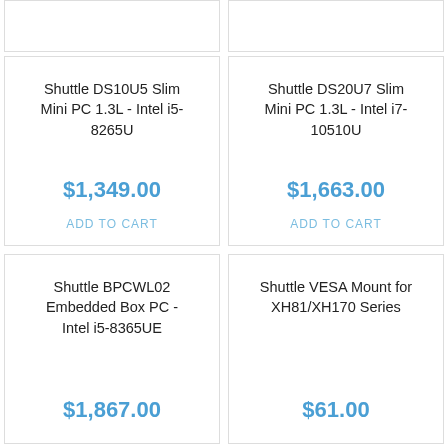Shuttle DS10U5 Slim Mini PC 1.3L - Intel i5-8265U
$1,349.00
ADD TO CART
Shuttle DS20U7 Slim Mini PC 1.3L - Intel i7-10510U
$1,663.00
ADD TO CART
Shuttle BPCWL02 Embedded Box PC - Intel i5-8365UE
$1,867.00
Shuttle VESA Mount for XH81/XH170 Series
$61.00